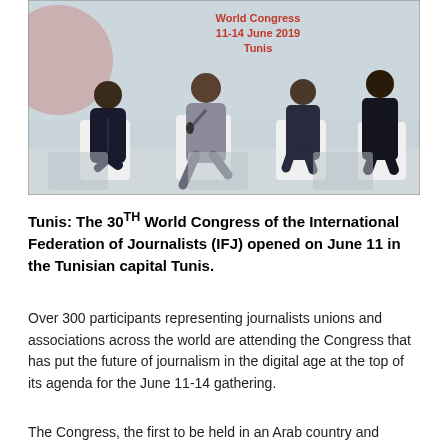[Figure (photo): Panel discussion at the IFJ 30th World Congress, Tunis, 11-14 June 2019. Four men in suits seated on a stage with white chairs, in front of a backdrop showing congress branding. Text on backdrop reads: World Congress 11-14 June 2019 Tunis.]
Tunis: The 30TH World Congress of the International Federation of Journalists (IFJ) opened on June 11 in the Tunisian capital Tunis.
Over 300 participants representing journalists unions and associations across the world are attending the Congress that has put the future of journalism in the digital age at the top of its agenda for the June 11-14 gathering.
The Congress, the first to be held in an Arab country and